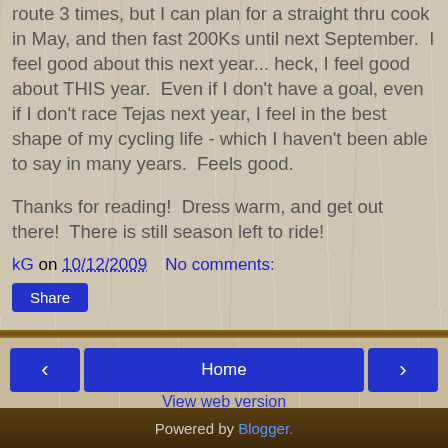route 3 times, but I can plan for a straight thru cook in May, and then fast 200Ks until next September. I feel good about this next year... heck, I feel good about THIS year. Even if I don't have a goal, even if I don't race Tejas next year, I feel in the best shape of my cycling life - which I haven't been able to say in many years. Feels good.
Thanks for reading! Dress warm, and get out there! There is still season left to ride!
kG on 10/12/2009   No comments:
Share
Home
View web version
Powered by Blogger.